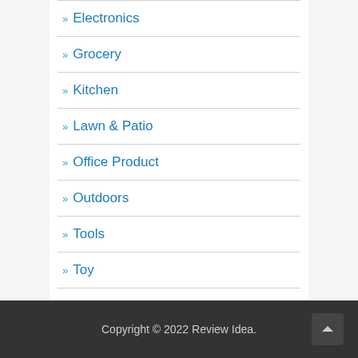» Electronics
» Grocery
» Kitchen
» Lawn & Patio
» Office Product
» Outdoors
» Tools
» Toy
» Wireless
Copyright © 2022 Review Idea.